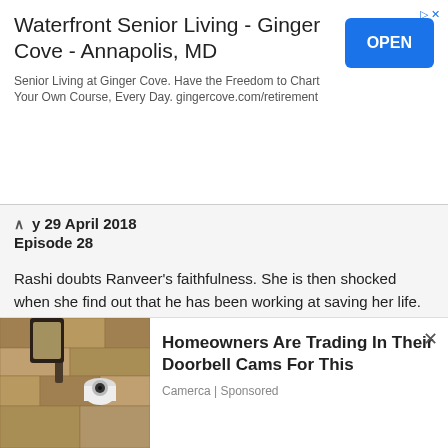[Figure (screenshot): Top advertisement banner for Waterfront Senior Living - Ginger Cove - Annapolis, MD with OPEN button]
Sunday 29 April 2018
Episode 28
Rashi doubts Ranveer's faithfulness. She is then shocked when she find out that he has been working at saving her life. Bani mistakenly tells Jai about her pregnancy. How will Jai react to this?
Monday 30 April 2018
Episode 29
Rashi uses her condition to bring Jai and Bani together. Will her plan work?. Jai seeks back his place in the family. He however
[Figure (screenshot): Bottom advertisement: Homeowners Are Trading In Their Doorbell Cams For This - Camerca | Sponsored, with photo of outdoor light/camera]